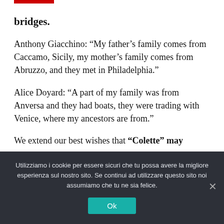bridges.
Anthony Giacchino: “My father’s family comes from Caccamo, Sicily, my mother’s family comes from Abruzzo, and they met in Philadelphia.”
Alice Doyard: “A part of my family was from Anversa and they had boats, they were trading with Venice, where my ancestors are from.”
We extend our best wishes that “Colette” may
Utilizziamo i cookie per essere sicuri che tu possa avere la migliore esperienza sul nostro sito. Se continui ad utilizzare questo sito noi assumiamo che tu ne sia felice.
Ok